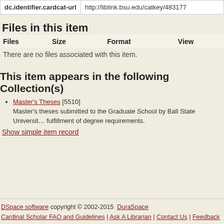|  |  |
| --- | --- |
| dc.identifier.cardcat-url | http://liblink.bsu.edu/catkey/483177 |
Files in this item
| Files | Size | Format | View |
| --- | --- | --- | --- |
There are no files associated with this item.
This item appears in the following Collection(s)
Master's Theses [5510] Master's theses submitted to the Graduate School by Ball State University in fulfillment of degree requirements.
Show simple item record
DSpace software copyright © 2002-2015 DuraSpace | Cardinal Scholar FAQ and Guidelines | Ask A Librarian | Contact Us | Feedback